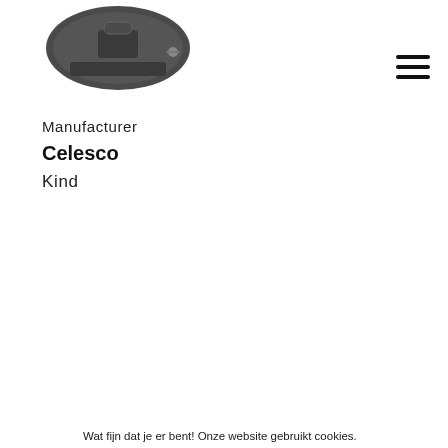[Figure (photo): Product image of a dark grey/black bag or case, partially visible at top of page]
Manufacturer
Celesco
Kind
Wat fijn dat je er bent! Onze website gebruikt cookies. Dat is onder andere nodig voor de websitefunctionaliteit en om onze website te verbeteren.

Meer weten? Check ons privacybeleid en cookiebeleid.
Ja, ik accepteer cookies
Nee, ik weiger cookies